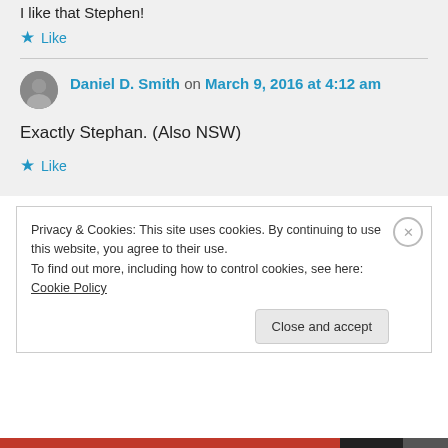I like that Stephen!
★ Like
Daniel D. Smith on March 9, 2016 at 4:12 am
Exactly Stephan. (Also NSW)
★ Like
Privacy & Cookies: This site uses cookies. By continuing to use this website, you agree to their use. To find out more, including how to control cookies, see here: Cookie Policy
Close and accept